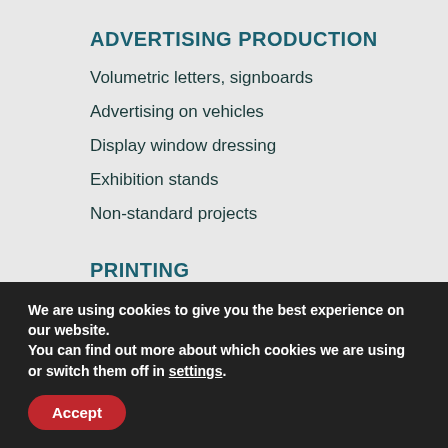ADVERTISING PRODUCTION
Volumetric letters, signboards
Advertising on vehicles
Display window dressing
Exhibition stands
Non-standard projects
PRINTING
Business cards, booklets, flyers
Magazines, catalogues, brochures
Stickers, non-standard print
Calendars, folders, menu
We are using cookies to give you the best experience on our website.
You can find out more about which cookies we are using or switch them off in settings.
Accept